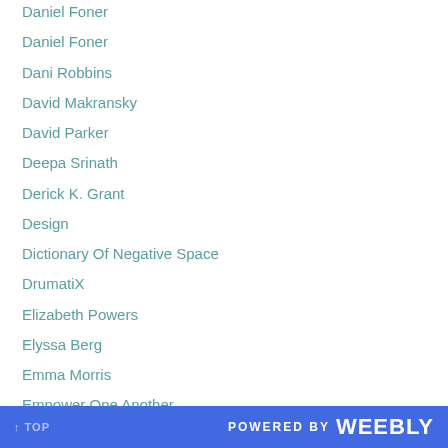Daniel Foner
Dani Robbins
David Makransky
David Parker
Deepa Srinath
Derick K. Grant
Design
Dictionary Of Negative Space
DrumatiX
Elizabeth Powers
Elyssa Berg
Emma Morris
Empower One Another
Endicott College
Erica Nelson
Erin McNulty
↑ TOP    POWERED BY weebly